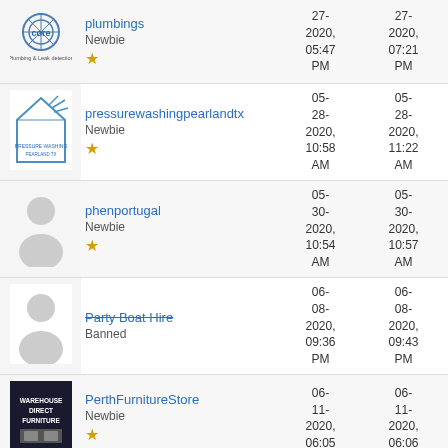| Avatar | Username/Role | Joined | Last Activity | Messages | Likes |
| --- | --- | --- | --- | --- | --- |
| [Core Plumbing logo] | plumbings
Newbie ★ | 27-2020, 05:47 PM | 27-2020, 07:21 PM | 0 | 0 |
| [Pressure Washing logo] | pressurewashingpearlandtx
Newbie ★ | 05-28-2020, 10:58 AM | 05-28-2020, 11:22 AM | 0 | 0 |
| [default avatar] | phenportugal
Newbie ★ | 05-30-2020, 10:54 AM | 05-30-2020, 10:57 AM | 0 | 0 |
| [default avatar] | Party Boat Hire (strikethrough)
Banned | 06-08-2020, 09:36 PM | 06-08-2020, 09:43 PM | 0 | 0 |
| [Warehouse Direct Furniture logo] | PerthFurnitureStore
Newbie ★ | 06-11-2020, 06:05 | 06-11-2020, 06:06 | 0 | 0 |